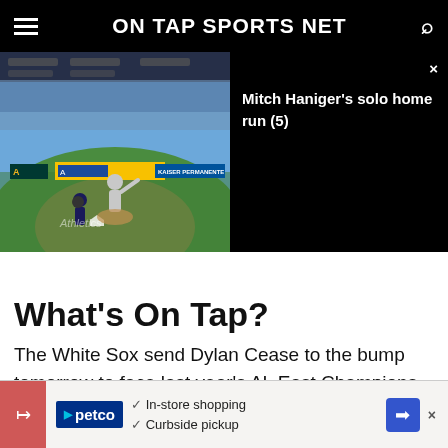ON TAP SPORTS NET
[Figure (screenshot): Baseball game video thumbnail showing a pitcher throwing at home plate, with video overlay card showing text 'Mitch Haniger's solo home run (5)']
What's On Tap?
The White Sox send Dylan Cease to the bump tomorrow to face last year's AL East Champions, the 100-win Tampa Bay Rays. This is a big series for two teams with World Series aspirations. The Sox
[Figure (infographic): Petco advertisement banner with text: In-store shopping, Curbside pickup, navigation icon and close button]